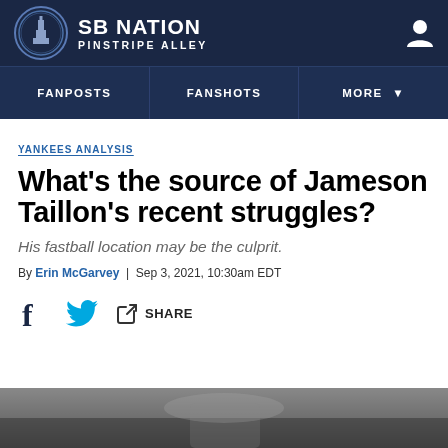SB NATION / PINSTRIPE ALLEY
YANKEES ANALYSIS
What’s the source of Jameson Taillon’s recent struggles?
His fastball location may be the culprit.
By Erin McGarvey | Sep 3, 2021, 10:30am EDT
[Figure (other): Social share icons: Facebook, Twitter, and share link with SHARE label]
[Figure (photo): Bottom partial photo of a baseball player, blurred crowd background]